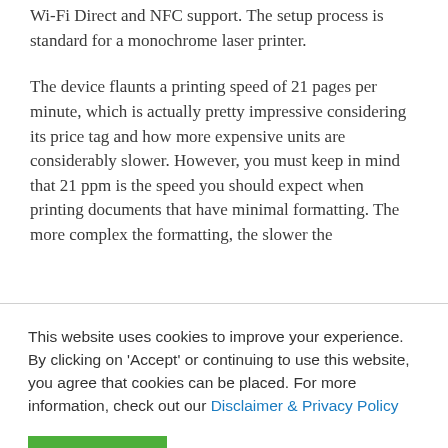Wi-Fi Direct and NFC support. The setup process is standard for a monochrome laser printer.
The device flaunts a printing speed of 21 pages per minute, which is actually pretty impressive considering its price tag and how more expensive units are considerably slower. However, you must keep in mind that 21 ppm is the speed you should expect when printing documents that have minimal formatting. The more complex the formatting, the slower the
This website uses cookies to improve your experience. By clicking on 'Accept' or continuing to use this website, you agree that cookies can be placed. For more information, check out our Disclaimer & Privacy Policy